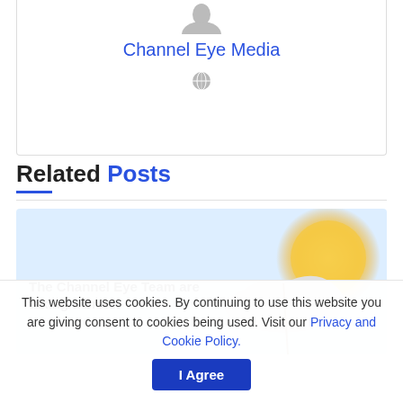[Figure (illustration): Partial profile image placeholder at top of card for Channel Eye Media]
Channel Eye Media
[Figure (illustration): Small globe icon below Channel Eye Media name]
Related Posts
[Figure (illustration): Related post card with light blue background showing text 'The Channel Eye Team are taking a break' with date '18th - 24th AUGUST' and illustration of beach umbrella and sun]
This website uses cookies. By continuing to use this website you are giving consent to cookies being used. Visit our Privacy and Cookie Policy.
I Agree